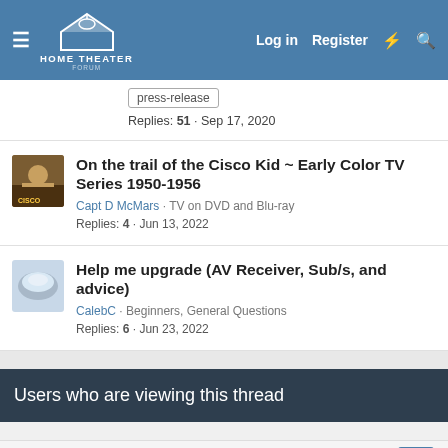Home Theater Forum — Log in | Register
press-release tag | Replies: 51 · Sep 17, 2020
On the trail of the Cisco Kid ~ Early Color TV Series 1950-1956 | Capt D McMars · TV on DVD and Blu-ray | Replies: 4 · Jun 13, 2022
Help me upgrade (AV Receiver, Sub/s, and advice) | CalebC · Beginners, General Questions | Replies: 6 · Jun 23, 2022
Users who are viewing this thread
Total: 1 (members: 0, guests: 1)